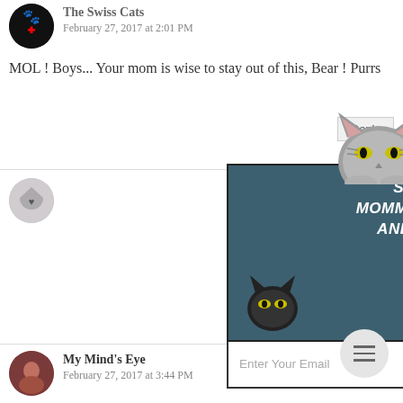[Figure (illustration): Swiss Cats avatar - circular icon with paw print and cross on black background]
The Swiss Cats
February 27, 2017 at 2:01 PM
MOL ! Boys... Your mom is wise to stay out of this, Bear ! Purrs
[Figure (illustration): Email subscription popup overlay with cat illustration. Title: STAY UP-TO-DATE WITH MOMMA KAT AND HER BEAR CAT AND GET NOTIFIED OF NEW POSTS BY EMAIL! With email input field and Subscribe button.]
[Figure (illustration): Momma Cat avatar - circular badge/logo]
g from the sation way ear Cat
[Figure (illustration): My Mind's Eye avatar - circular photo]
My Mind's Eye
February 27, 2017 at 3:44 PM
OH MY CATS we are cackling like two old hens